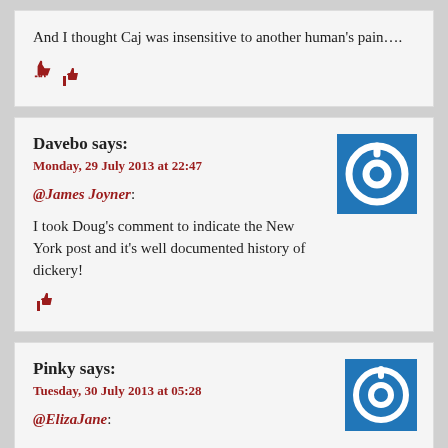And I thought Caj was insensitive to another human's pain….
Davebo says:
Monday, 29 July 2013 at 22:47
@James Joyner:
I took Doug's comment to indicate the New York post and it's well documented history of dickery!
Pinky says:
Tuesday, 30 July 2013 at 05:28
@ElizaJane: